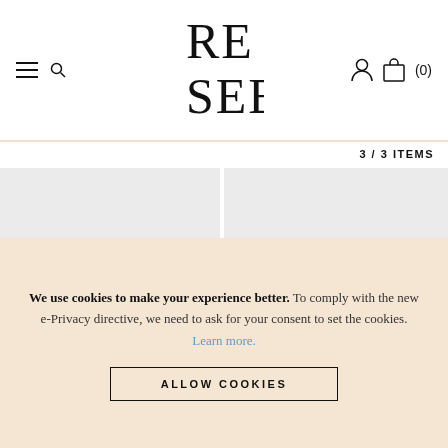RE SEE — navigation header with hamburger menu, search icon, logo, user icon, and cart (0)
3 / 3 ITEMS
[Figure (photo): Black quilted leather Chanel belt bag with gold CC logo clasp and belt strap, on white background]
[Figure (photo): Black quilted leather belt bag with zipper top and adjustable strap, on white background]
We use cookies to make your experience better. To comply with the new e-Privacy directive, we need to ask for your consent to set the cookies. Learn more.
ALLOW COOKIES